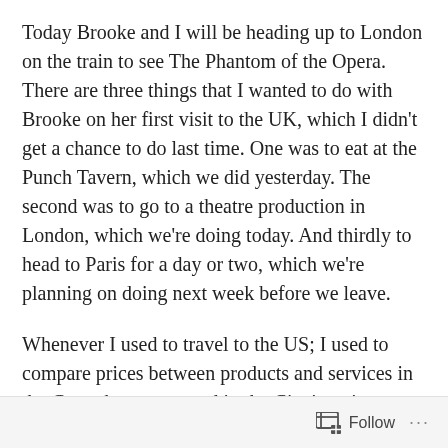Today Brooke and I will be heading up to London on the train to see The Phantom of the Opera. There are three things that I wanted to do with Brooke on her first visit to the UK, which I didn't get a chance to do last time. One was to eat at the Punch Tavern, which we did yesterday. The second was to go to a theatre production in London, which we're doing today. And thirdly to head to Paris for a day or two, which we're planning on doing next week before we leave.
Whenever I used to travel to the US; I used to compare prices between products and services in the Canterbury area, and in the Cincinnati area. Now, after having lived in the US for 4 1/2 years I find myself doing the same in reverse. What I remembered is the high cost of housing and petrol/gasoline, but what surprised me was the day
Follow ...